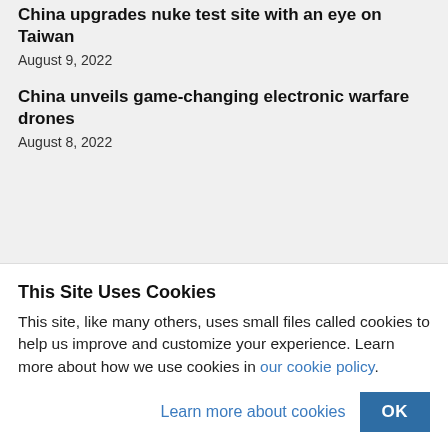China upgrades nuke test site with an eye on Taiwan
August 9, 2022
China unveils game-changing electronic warfare drones
August 8, 2022
This Site Uses Cookies
This site, like many others, uses small files called cookies to help us improve and customize your experience. Learn more about how we use cookies in our cookie policy.
Learn more about cookies
OK